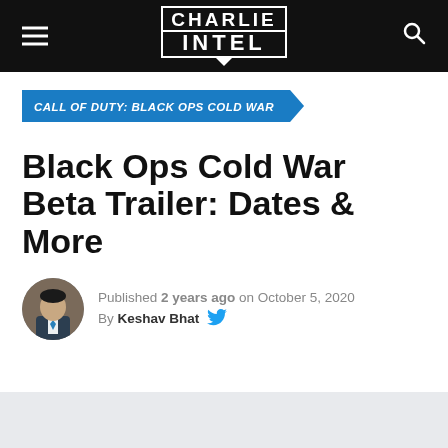CHARLIE INTEL
CALL OF DUTY: BLACK OPS COLD WAR
Black Ops Cold War Beta Trailer: Dates & More
Published 2 years ago on October 5, 2020
By Keshav Bhat